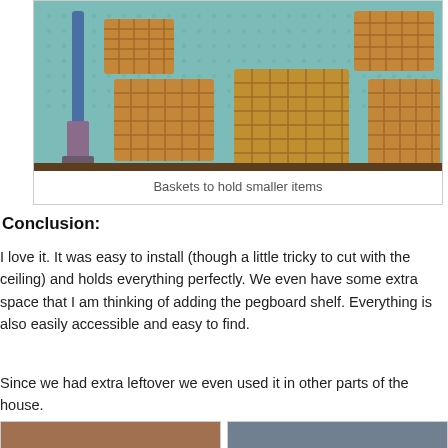[Figure (photo): Wicker baskets mounted on a teal/turquoise pegboard, with a vacuum cleaner leaning against the wall on the left side. Multiple baskets of different sizes are hung on the pegboard wall.]
Baskets to hold smaller items
Conclusion:
I love it. It was easy to install (though a little tricky to cut with the ceiling) and holds everything perfectly. We even have some extra space that I am thinking of adding the pegboard shelf. Everything is also easily accessible and easy to find.
Since we had extra leftover we even used it in other parts of the house.
[Figure (photo): Partial view of another pegboard installation, bottom left]
[Figure (photo): Partial view of another pegboard installation, bottom right]